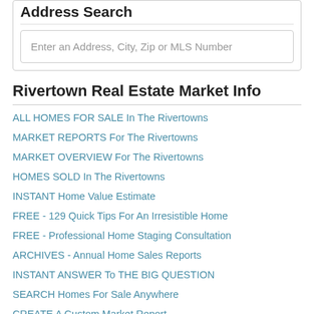Address Search
Enter an Address, City, Zip or MLS Number
Rivertown Real Estate Market Info
ALL HOMES FOR SALE In The Rivertowns
MARKET REPORTS For The Rivertowns
MARKET OVERVIEW For The Rivertowns
HOMES SOLD In The Rivertowns
INSTANT Home Value Estimate
FREE - 129 Quick Tips For An Irresistible Home
FREE - Professional Home Staging Consultation
ARCHIVES - Annual Home Sales Reports
INSTANT ANSWER To THE BIG QUESTION
SEARCH Homes For Sale Anywhere
CREATE A Custom Market Report